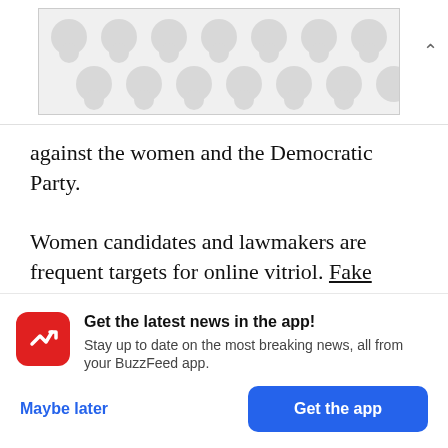[Figure (other): Advertisement banner with decorative bubble/dot pattern in light gray on white background]
against the women and the Democratic Party.
Women candidates and lawmakers are frequent targets for online vitriol. Fake images and other disinformation about Democrats Ilhan Omar, Nancy Pelosi, and Stacey Abrams was circulated on social media during the midterm elections. Earlier this year, doctored video and a fake photo falsely
Get the latest news in the app! Stay up to date on the most breaking news, all from your BuzzFeed app.
Maybe later
Get the app